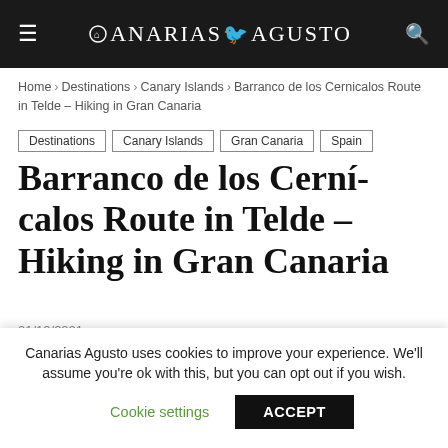CANARIAS AGUSTO
Home › Destinations › Canary Islands › Barranco de los Cernicalos Route in Telde – Hiking in Gran Canaria
Destinations
Canary Islands
Gran Canaria
Spain
Barranco de los Cerníocalos Route in Telde – Hiking in Gran Canaria
01/12/2021
[Figure (photo): Lush green forest canopy with trees and dense foliage, nature hiking scene]
Canarias Agusto uses cookies to improve your experience. We'll assume you're ok with this, but you can opt out if you wish. Cookie settings ACCEPT